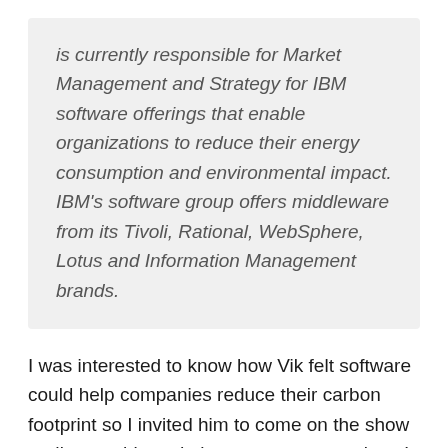is currently responsible for Market Management and Strategy for IBM software offerings that enable organizations to reduce their energy consumption and environmental impact. IBM's software group offers middleware from its Tivoli, Rational, WebSphere, Lotus and Information Management brands.
I was interested to know how Vik felt software could help companies reduce their carbon footprint so I invited him to come on the show to discuss this and also to answer questions I solicited from readers of this site.
Here are the questions I asked Vik and the approx. times I asked them: